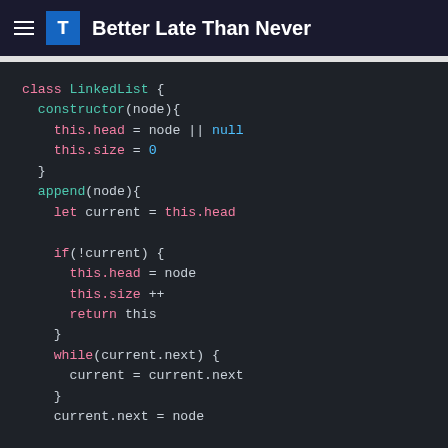Better Late Than Never
[Figure (screenshot): Code snippet showing a JavaScript LinkedList class implementation with constructor and append methods, displayed in a dark-themed code editor.]